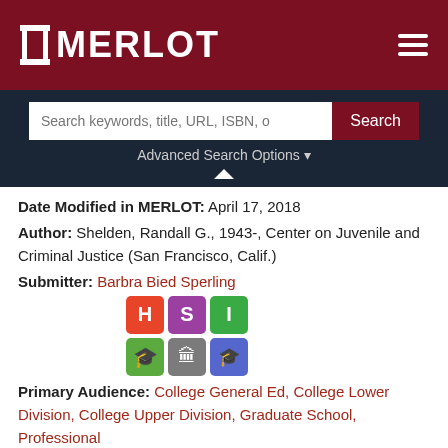MERLOT
[Figure (screenshot): MERLOT website search bar with 'Search keywords, title, URL, ISBN, o' placeholder and 'Search' button, with 'Advanced Search Options' dropdown link below]
Date Modified in MERLOT:  April 17, 2018
Author:  Shelden, Randall G., 1943-, Center on Juvenile and Criminal Justice (San Francisco, Calif.)
Submitter:  Barbra Bied Sperling
[Figure (infographic): Six colored badge icons in a 3x2 grid: H (red), S (purple), I (green) on top row; three icon badges (green, gray, blue) on bottom row]
Primary Audience:  College General Ed, College Lower Division, College Upper Division, Graduate School, Professional
Technical Format:  PDF
Mobile Compatibility:  Not specified at this time
Language:  English